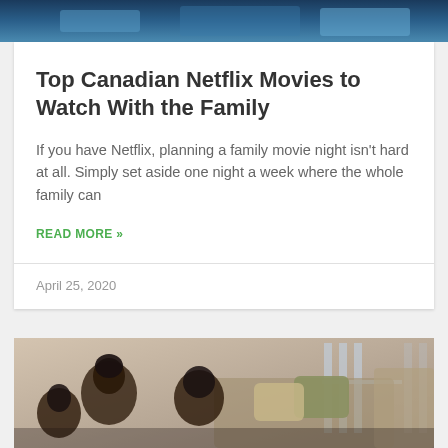[Figure (photo): Top portion of a photo showing blue tones, likely a bedroom or living room scene with blue cushions]
Top Canadian Netflix Movies to Watch With the Family
If you have Netflix, planning a family movie night isn't hard at all. Simply set aside one night a week where the whole family can
READ MORE »
April 25, 2020
[Figure (photo): Bottom portion showing a family — a woman with dark hair and a child — sitting on a couch, likely watching TV together]